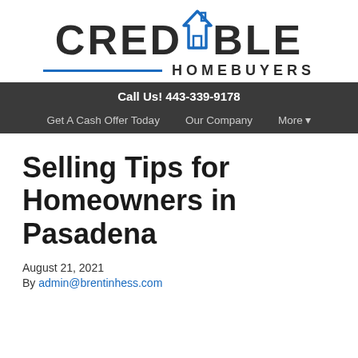[Figure (logo): Credible Homebuyers logo with house icon, bold CREDIBLE text, blue underline and HOMEBUYERS text]
Call Us! 443-339-9178
Get A Cash Offer Today   Our Company   More
Selling Tips for Homeowners in Pasadena
August 21, 2021
By admin@brentinhess.com